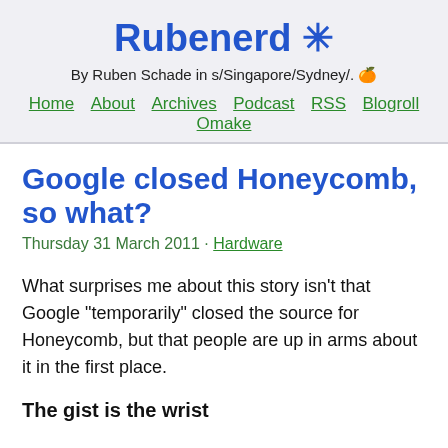Rubenerd ✳
By Ruben Schade in s/Singapore/Sydney/. 🍊
Home  About  Archives  Podcast  RSS  Blogroll  Omake
Google closed Honeycomb, so what?
Thursday 31 March 2011 · Hardware
What surprises me about this story isn't that Google "temporarily" closed the source for Honeycomb, but that people are up in arms about it in the first place.
The gist is the wrist